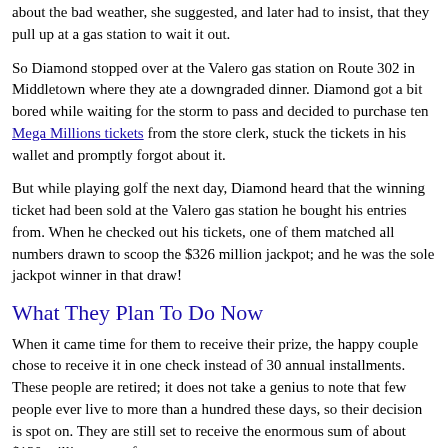about the bad weather, she suggested, and later had to insist, that they pull up at a gas station to wait it out.
So Diamond stopped over at the Valero gas station on Route 302 in Middletown where they ate a downgraded dinner. Diamond got a bit bored while waiting for the storm to pass and decided to purchase ten Mega Millions tickets from the store clerk, stuck the tickets in his wallet and promptly forgot about it.
But while playing golf the next day, Diamond heard that the winning ticket had been sold at the Valero gas station he bought his entries from. When he checked out his tickets, one of them matched all numbers drawn to scoop the $326 million jackpot; and he was the sole jackpot winner in that draw!
What They Plan To Do Now
When it came time for them to receive their prize, the happy couple chose to receive it in one check instead of 30 annual installments. These people are retired; it does not take a genius to note that few people ever live to more than a hundred these days, so their decision is spot on. They are still set to receive the enormous sum of about $130 million even after taxes.